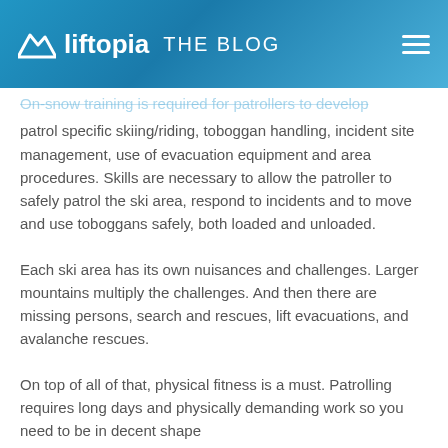liftopia THE BLOG
On-snow training is required for patrollers to develop patrol specific skiing/riding, toboggan handling, incident site management, use of evacuation equipment and area procedures. Skills are necessary to allow the patroller to safely patrol the ski area, respond to incidents and to move and use toboggans safely, both loaded and unloaded.
Each ski area has its own nuisances and challenges. Larger mountains multiply the challenges. And then there are missing persons, search and rescues, lift evacuations, and avalanche rescues.
On top of all of that, physical fitness is a must. Patrolling requires long days and physically demanding work so you need to be in decent shape